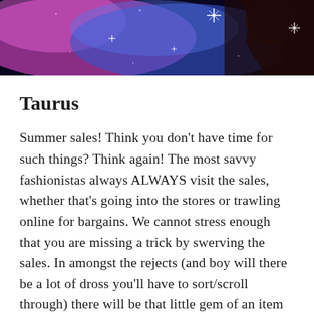[Figure (photo): A colorful galaxy/cosmic background with pink, purple, and blue hues with sparkle/star effects and dark silhouetted hands visible on the right side]
Taurus
Summer sales! Think you don't have time for such things? Think again! The most savvy fashionistas always ALWAYS visit the sales, whether that's going into the stores or trawling online for bargains. We cannot stress enough that you are missing a trick by swerving the sales. In amongst the rejects (and boy will there be a lot of dross you'll have to sort/scroll through) there will be that little gem of an item you will stumble